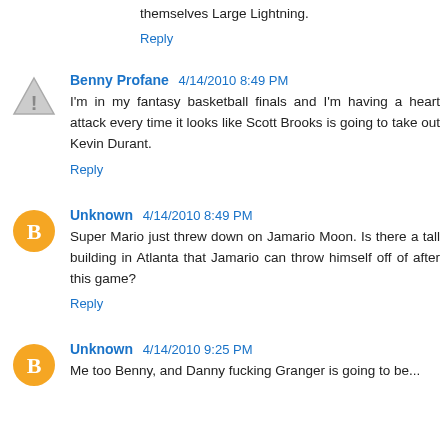themselves Large Lightning.
Reply
Benny Profane 4/14/2010 8:49 PM
I'm in my fantasy basketball finals and I'm having a heart attack every time it looks like Scott Brooks is going to take out Kevin Durant.
Reply
Unknown 4/14/2010 8:49 PM
Super Mario just threw down on Jamario Moon. Is there a tall building in Atlanta that Jamario can throw himself off of after this game?
Reply
Unknown 4/14/2010 9:25 PM
Me too Benny, and Danny fucking Granger is going to be...